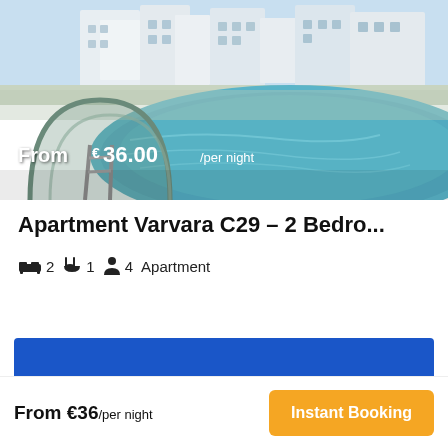[Figure (photo): Outdoor swimming pool with white apartment buildings in the background, blue water visible with pool ladder/railing in foreground]
From €36.00/per night
Apartment Varvara C29 – 2 Bedro...
🛏 2  🚿 1  👤 4  Apartment
From €36/per night
Instant Booking